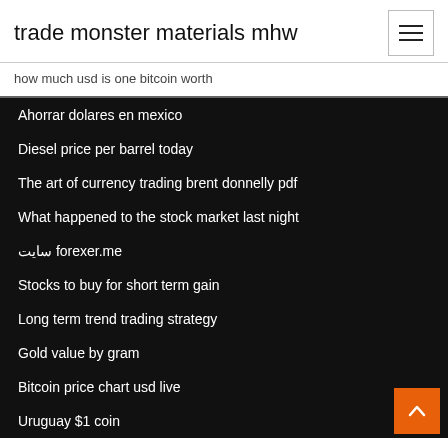trade monster materials mhw
how much usd is one bitcoin worth
Ahorrar dolares en mexico
Diesel price per barrel today
The art of currency trading brent donnelly pdf
What happened to the stock market last night
سایت forexer.me
Stocks to buy for short term gain
Long term trend trading strategy
Gold value by gram
Bitcoin price chart usd live
Uruguay $1 coin